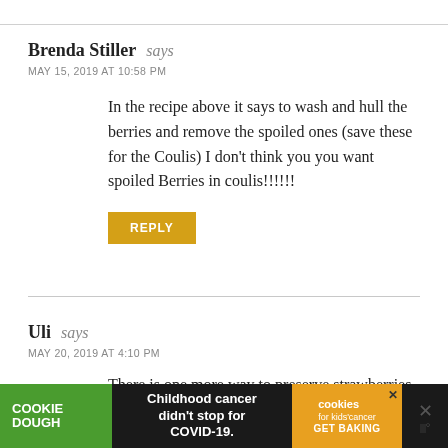Brenda Stiller says
MAY 15, 2019 AT 10:58 PM
In the recipe above it says to wash and hull the berries and remove the spoiled ones (save these for the Coulis) I don't think you you want spoiled Berries in coulis!!!!!!
REPLY
Uli says
MAY 20, 2019 AT 4:10 PM
There is one more way to preserve strawberries and
[Figure (other): Advertisement banner at the bottom: Cookie Dough / Childhood cancer didn't stop for COVID-19. / cookies for kids cancer GET BAKING]